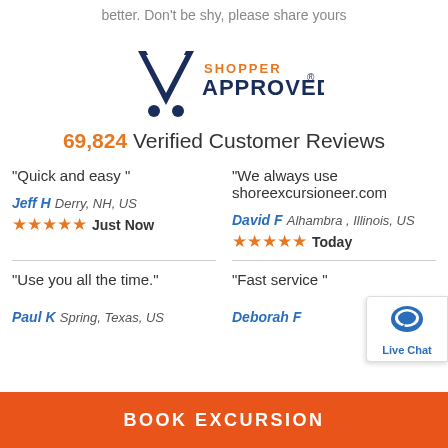better. Don't be shy, please share yours
[Figure (logo): Shopper Approved logo with checkmark and orange/navy text]
69,824 Verified Customer Reviews
"Quick and easy "
"We always use shoreexcursioneer.com
Jeff H Derry, NH, US ★★★★★ Just Now
David F Alhambra , Illinois, US ★★★★★ Today
"Use you all the time."
"Fast service "
Paul K Spring, Texas, US
Deborah F
BOOK EXCURSION